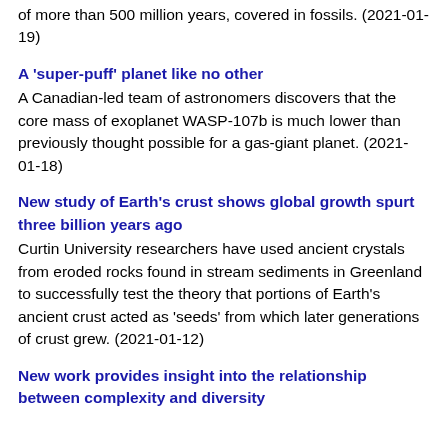of more than 500 million years, covered in fossils. (2021-01-19)
A 'super-puff' planet like no other
A Canadian-led team of astronomers discovers that the core mass of exoplanet WASP-107b is much lower than previously thought possible for a gas-giant planet. (2021-01-18)
New study of Earth's crust shows global growth spurt three billion years ago
Curtin University researchers have used ancient crystals from eroded rocks found in stream sediments in Greenland to successfully test the theory that portions of Earth's ancient crust acted as 'seeds' from which later generations of crust grew. (2021-01-12)
New work provides insight into the relationship between complexity and diversity